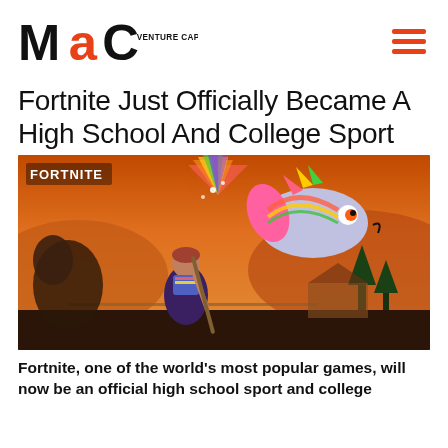MaC VENTURE CAPITAL
Fortnite Just Officially Became A High School And College Sport
[Figure (screenshot): Fortnite game screenshot showing a character wielding a large pickaxe with a colorful fish/llama design under a dramatic orange sky. 'FORTNITE' text visible in upper-left corner.]
Fortnite, one of the world's most popular games, will now be an official high school sport and college